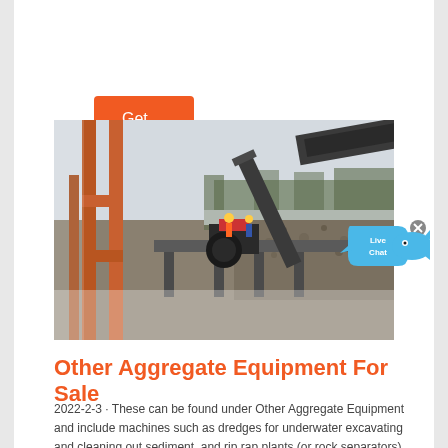Get Quote
[Figure (photo): Industrial aggregate processing equipment site showing conveyor belts, metal structures, and workers on a platform surrounded by rock/gravel piles, with trees in the background.]
Other Aggregate Equipment For Sale
2022-2-3 · These can be found under Other Aggregate Equipment and include machines such as dredges for underwater excavating and cleaning out sediment, and rip rap plants (or rock separators) for